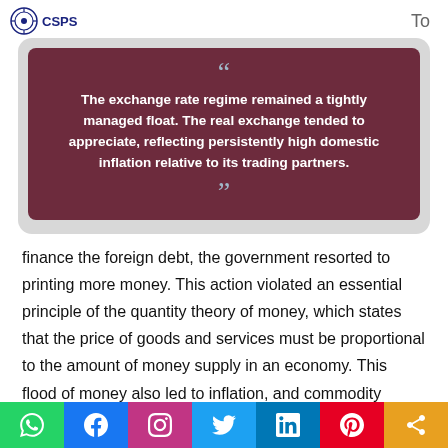CSPS  To
[Figure (infographic): Dark red quote box with opening and closing quotation marks. Quote text reads: The exchange rate regime remained a tightly managed float. The real exchange tended to appreciate, reflecting persistently high domestic inflation relative to its trading partners.]
finance the foreign debt, the government resorted to printing more money. This action violated an essential principle of the quantity theory of money, which states that the price of goods and services must be proportional to the amount of money supply in an economy. This flood of money also led to inflation, and commodity prices increased beyond control.
WhatsApp Facebook Instagram Twitter LinkedIn Pinterest Share